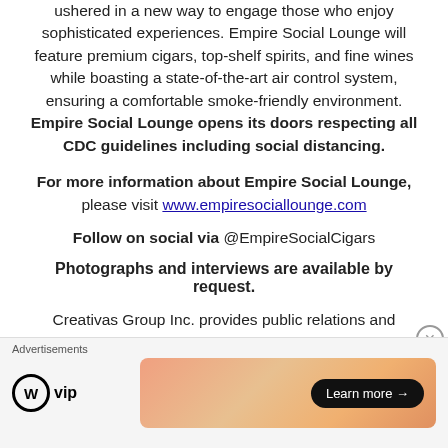ushered in a new way to engage those who enjoy sophisticated experiences. Empire Social Lounge will feature premium cigars, top-shelf spirits, and fine wines while boasting a state-of-the-art air control system, ensuring a comfortable smoke-friendly environment. Empire Social Lounge opens its doors respecting all CDC guidelines including social distancing.
For more information about Empire Social Lounge, please visit www.empiresociallounge.com
Follow on social via @EmpireSocialCigars
Photographs and interviews are available by request.
Creativas Group Inc. provides public relations and marketing counsel to national brands, recognized special events and
[Figure (other): Advertisement bar with WordPress VIP logo on left and a gradient orange banner with 'Learn more' button on right, with a close (X) button]